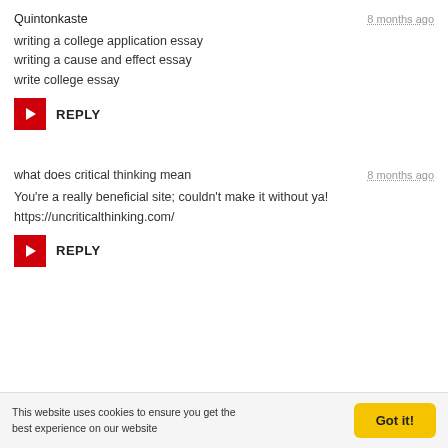Quintonkaste
8 months ago
writing a college application essay
writing a cause and effect essay
write college essay
REPLY
what does critical thinking mean
8 months ago
You're a really beneficial site; couldn't make it without ya!
https://uncriticalthinking.com/
REPLY
This website uses cookies to ensure you get the best experience on our website